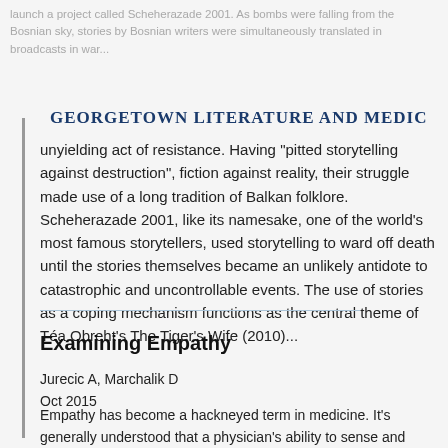GEORGETOWN LITERATURE AND MEDIC
unyielding act of resistance. Having "pitted storytelling against destruction", fiction against reality, their struggle made use of a long tradition of Balkan folklore. Scheherazade 2001, like its namesake, one of the world's most famous storytellers, used storytelling to ward off death until the stories themselves became an unlikely antidote to catastrophic and uncontrollable events. The use of stories as a coping mechanism functions as the central theme of Téa Obreht's The Tiger's Wife (2010)...
Examining Empathy
Jurecic A, Marchalik D
Oct 2015
Empathy has become a hackneyed term in medicine. It's generally understood that a physician's ability to sense and understand the feelings, thoughts, and